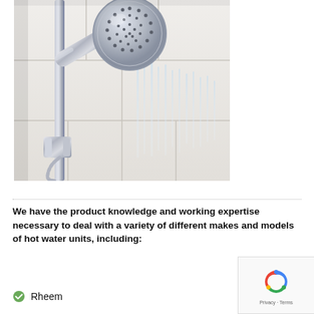[Figure (photo): Close-up photo of a chrome handheld shower head spraying water, mounted on a sliding rail in a white tiled shower]
We have the product knowledge and working expertise necessary to deal with a variety of different makes and models of hot water units, including:
Rheem